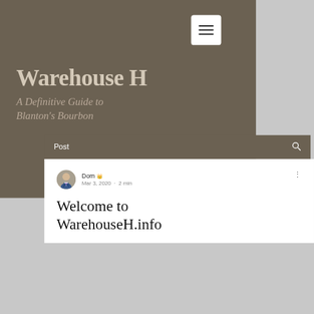Warehouse H
A Definitive Guide to Blanton's Bourbon
Post
[Figure (photo): Circular avatar photo of Dom, a man in a suit and tie smiling]
Dom 👑
Mar 3, 2020  ·  2 min
Welcome to WarehouseH.info